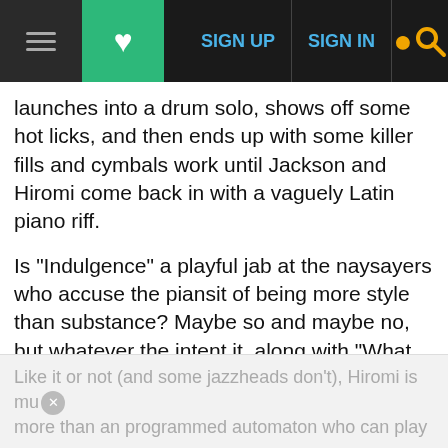SIGN UP  SIGN IN  [search]
launches into a drum solo, shows off some hot licks, and then ends up with some killer fills and cymbals work until Jackson and Hiromi come back in with a vaguely Latin piano riff.
Is "Indulgence" a playful jab at the naysayers who accuse the piansit of being more style than substance? Maybe so and maybe no, but whatever the intent it, along with "What Will Be, Will Be" is a showcase for Jackson's contrabass guitar work and some mighty fine funky grooves and the restrained solo piano piece "Wake Up and Dream" washes over the listener like warm spring rain.
Like it or not (and some jazzheads don't), Hiromi is mu more than an programmed automaton who can play